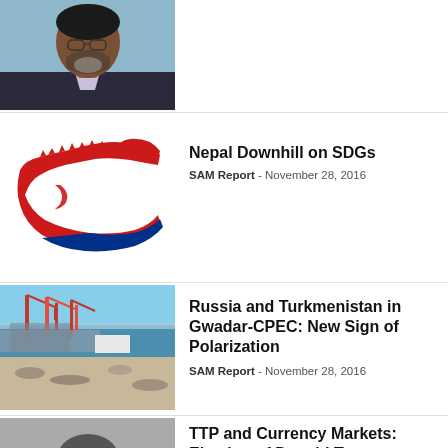[Figure (photo): Close-up photo of an older South Asian man with glasses and greying beard in a suit, against a light blue background]
[Figure (illustration): Red map silhouette of Nepal with blue border outline on white background]
Nepal Downhill on SDGs
SAM Report - November 28, 2016
[Figure (photo): Photo of Gwadar port/harbor with cranes, ocean, and sandy beach in foreground]
Russia and Turkmenistan in Gwadar-CPEC: New Sign of Polarization
SAM Report - November 28, 2016
[Figure (photo): Partial photo of a person, only top of head visible]
TTP and Currency Markets: Election of Donald Trump Foreshadows Trade War in